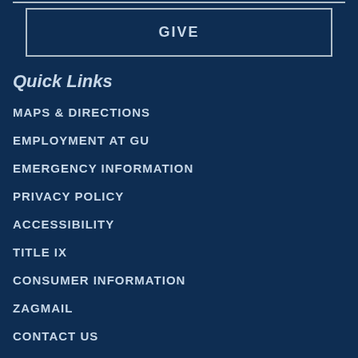GIVE
Quick Links
MAPS & DIRECTIONS
EMPLOYMENT AT GU
EMERGENCY INFORMATION
PRIVACY POLICY
ACCESSIBILITY
TITLE IX
CONSUMER INFORMATION
ZAGMAIL
CONTACT US